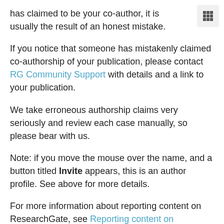has claimed to be your co-author, it is usually the result of an honest mistake.
If you notice that someone has mistakenly claimed co-authorship of your publication, please contact RG Community Support with details and a link to your publication.
We take erroneous authorship claims very seriously and review each case manually, so please bear with us.
Note: if you move the mouse over the name, and a button titled Invite appears, this is an author profile. See above for more details.
For more information about reporting content on ResearchGate, see Reporting content on ResearchGate